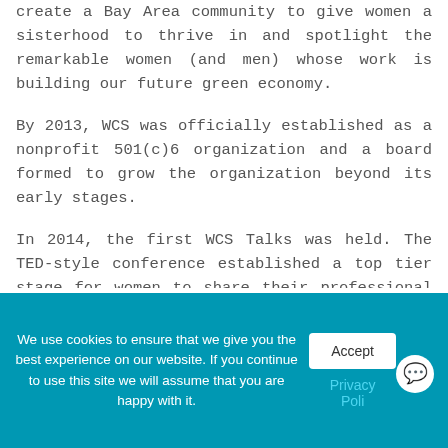create a Bay Area community to give women a sisterhood to thrive in and spotlight the remarkable women (and men) whose work is building our future green economy.
By 2013, WCS was officially established as a nonprofit 501(c)6 organization and a board formed to grow the organization beyond its early stages.
In 2014, the first WCS Talks was held. The TED-style conference established a top tier stage for women to share their professional stories, career tips, and
We use cookies to ensure that we give you the best experience on our website. If you continue to use this site we will assume that you are happy with it.